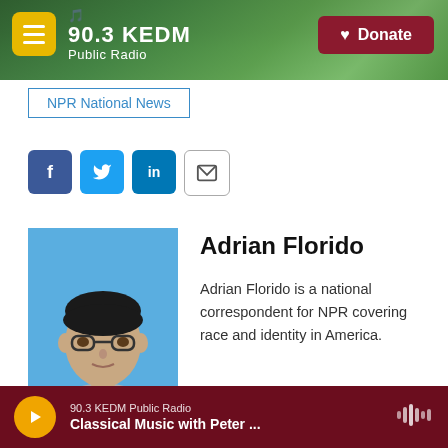[Figure (screenshot): 90.3 KEDM Public Radio website header with logo, hamburger menu button, and Donate button over a forest background]
NPR National News
[Figure (infographic): Social sharing buttons: Facebook, Twitter, LinkedIn, and Email]
[Figure (photo): Headshot photo of Adrian Florido, a young man with dark hair and glasses wearing a grey sweater, against a blue background]
Adrian Florido
Adrian Florido is a national correspondent for NPR covering race and identity in America.
[Figure (infographic): Audio player bar at bottom: 90.3 KEDM Public Radio - Classical Music with Peter ...]